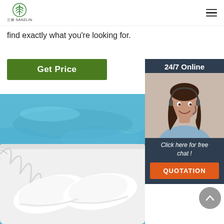SANZLIN logo and navigation menu
find exactly what you're looking for.
Get Price
[Figure (photo): Customer service representative woman wearing a headset, smiling, with 24/7 Online label, Click here for free chat text, and QUOTATION button]
[Figure (photo): Close-up of white hotel/spa slippers on a white tray with blue pool water in background and palm leaf shadow]